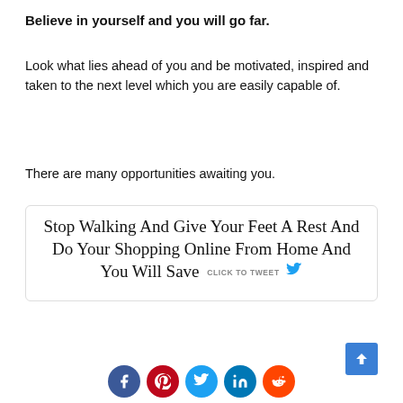Believe in yourself and you will go far.
Look what lies ahead of you and be motivated, inspired and taken to the next level which you are easily capable of.
There are many opportunities awaiting you.
[Figure (other): Tweet box with large stylized text: 'Stop Walking And Give Your Feet A Rest And Do Your Shopping Online From Home And You Will Save' with a CLICK TO TWEET button and Twitter bird icon]
[Figure (other): Social share buttons row: Facebook (blue), Pinterest (red), Twitter (light blue), LinkedIn (dark blue), Reddit (orange)]